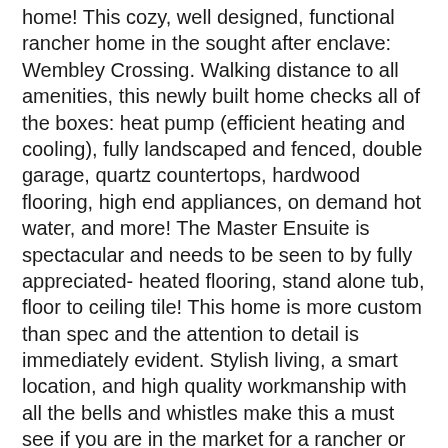home! This cozy, well designed, functional rancher home in the sought after enclave: Wembley Crossing. Walking distance to all amenities, this newly built home checks all of the boxes: heat pump (efficient heating and cooling), fully landscaped and fenced, double garage, quartz countertops, hardwood flooring, high end appliances, on demand hot water, and more! The Master Ensuite is spectacular and needs to be seen to by fully appreciated- heated flooring, stand alone tub, floor to ceiling tile! This home is more custom than spec and the attention to detail is immediately evident. Stylish living, a smart location, and high quality workmanship with all the bells and whistles make this a must see if you are in the market for a rancher or patio home style abode! New Home Warranty is included with the purchase for your ongoing peace of mind! Price is plus GST.